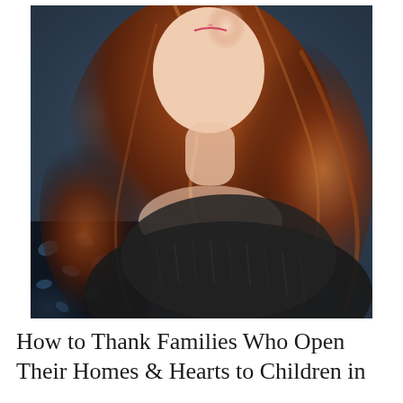[Figure (photo): Portrait photo of a young woman with long red-auburn hair wearing a dark navy/black knit sweater, photographed against a blurry blue-gray background. She is looking slightly off-camera. The lower left shows a blue and white patterned fabric.]
How to Thank Families Who Open Their Homes & Hearts to Children in...